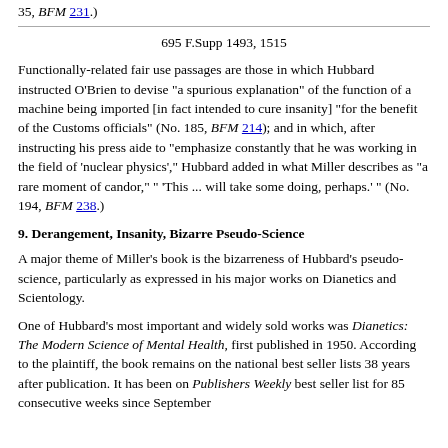35, BFM 231.)
695 F.Supp 1493, 1515
Functionally-related fair use passages are those in which Hubbard instructed O'Brien to devise "a spurious explanation" of the function of a machine being imported [in fact intended to cure insanity] "for the benefit of the Customs officials" (No. 185, BFM 214); and in which, after instructing his press aide to "emphasize constantly that he was working in the field of 'nuclear physics'," Hubbard added in what Miller describes as "a rare moment of candor," " 'This ... will take some doing, perhaps.' " (No. 194, BFM 238.)
9. Derangement, Insanity, Bizarre Pseudo-Science
A major theme of Miller's book is the bizarreness of Hubbard's pseudo-science, particularly as expressed in his major works on Dianetics and Scientology.
One of Hubbard's most important and widely sold works was Dianetics: The Modern Science of Mental Health, first published in 1950. According to the plaintiff, the book remains on the national best seller lists 38 years after publication. It has been on Publishers Weekly best seller list for 85 consecutive weeks since September